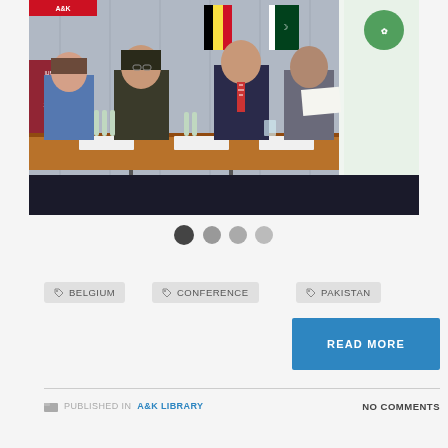[Figure (photo): Conference photo showing four people seated at a long table with name placards, flags in the background including Belgian and Pakistani flags, and a green organization logo banner on the right.]
● ● ● ●
BELGIUM
CONFERENCE
PAKISTAN
READ MORE
PUBLISHED IN A&K LIBRARY
NO COMMENTS